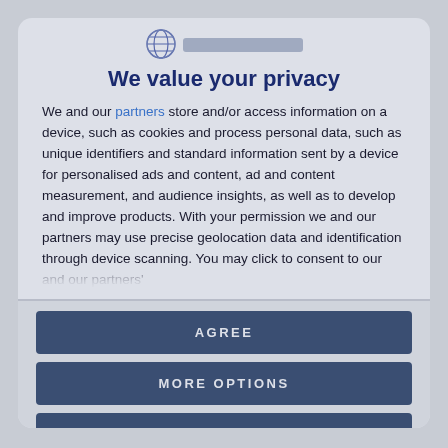[Figure (logo): Globe/UN-style logo icon with blurred organization name text bar beside it]
We value your privacy
We and our partners store and/or access information on a device, such as cookies and process personal data, such as unique identifiers and standard information sent by a device for personalised ads and content, ad and content measurement, and audience insights, as well as to develop and improve products. With your permission we and our partners may use precise geolocation data and identification through device scanning. You may click to consent to our and our partners'
AGREE
MORE OPTIONS
DISAGREE